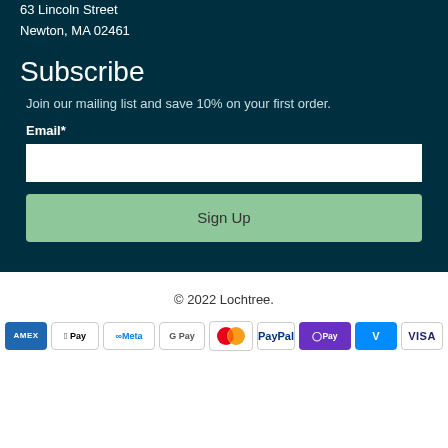63 Lincoln Street
Newton, MA 02461
Subscribe
Join our mailing list and save 10% on your first order.
Email*
[Figure (other): Email input field (white rectangle)]
[Figure (other): Sign Up button (green rounded rectangle)]
© 2022 Lochtree.
[Figure (other): Payment icons: AMEX, Apple Pay, Meta Pay, Google Pay, Mastercard, PayPal, Shop Pay, Venmo, Visa]